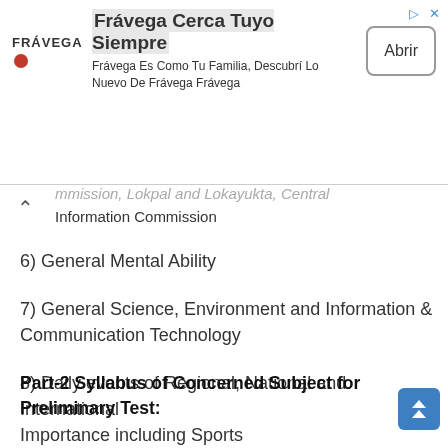[Figure (screenshot): Advertisement banner for Frávega with logo, tagline 'Frávega Cerca Tuyo Siempre', subtitle 'Frávega Es Como Tu Familia, Descubrí Lo Nuevo De Frávega Frávega', and an 'Abrir' button]
...mmission, Lokpal and Lokayukta, Central Information Commission
6) General Mental Ability
7) General Science, Environment and Information & Communication Technology
8) Daily events of Regional, National and International Importance including Sports
Part-2 Syllabus of Concerned Subject for Preliminary Test: